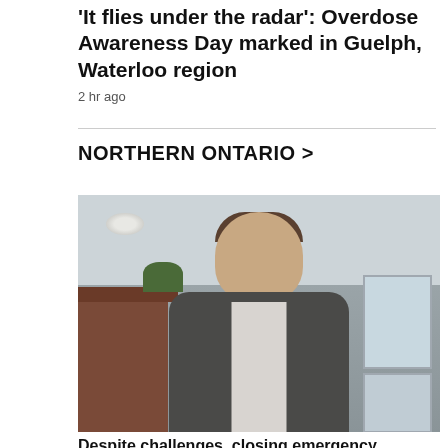'It flies under the radar': Overdose Awareness Day marked in Guelph, Waterloo region
2 hr ago
NORTHERN ONTARIO >
[Figure (photo): A man in a dark suit jacket and light shirt sitting in an office, facing the camera, with office furniture, a plant, and windows in the background.]
Despite challenges, closing emergency